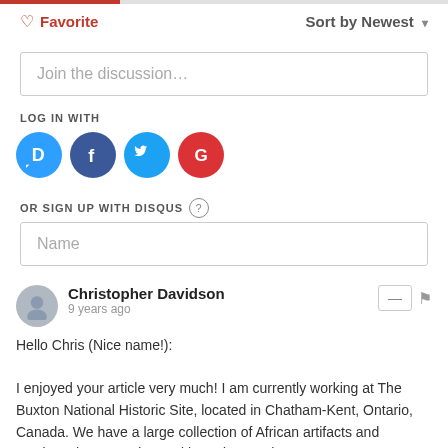♡ Favorite
Sort by Newest ▾
Join the discussion…
LOG IN WITH
[Figure (logo): Four social login icons: Disqus (blue circle with D), Facebook (dark blue circle with f), Twitter (light blue circle with bird), Google (red circle with G)]
OR SIGN UP WITH DISQUS ?
Name
Christopher Davidson
9 years ago
Hello Chris (Nice name!):

I enjoyed your article very much! I am currently working at The Buxton National Historic Site, located in Chatham-Kent, Ontario, Canada. We have a large collection of African artifacts and carvings that were donated by a doctor who spent some 45 years working in Kenya. I have been tasked with gathering detailed information on